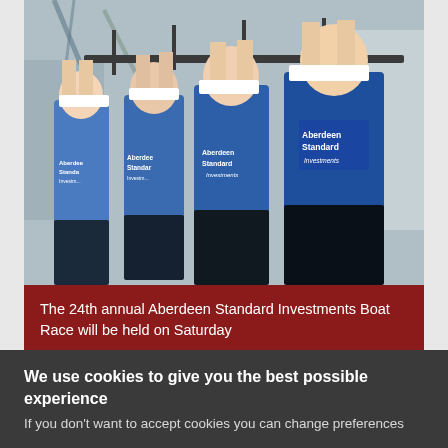[Figure (photo): Four young male rowers in blue Aberdeen Standard Investments vests lifting a boat overhead outdoors]
The 24th annual Aberdeen Standard Investments Boat Race will be held on Saturday
The annual contest between the University of Aberdeen and Robert Gordon University (RGU), the Aberdeen Standard Investments Boat Race, has been...
We use cookies to give you the best possible experience
If you don't want to accept cookies you can change preferences